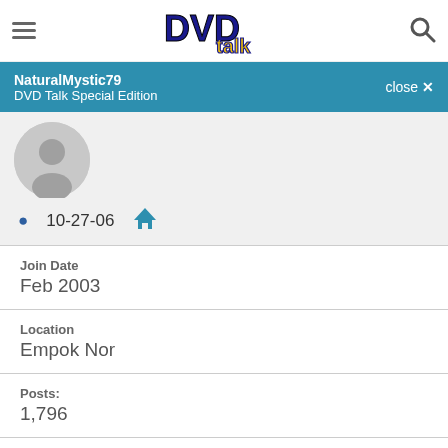DVD Talk - NaturalMystic79 profile header
NaturalMystic79
DVD Talk Special Edition
[Figure (illustration): Default grey user avatar circle with person silhouette icon]
10-27-06
Join Date
Feb 2003
Location
Empok Nor
Posts:
1,796
Likes: 0
Received 0 Likes on 0 Posts